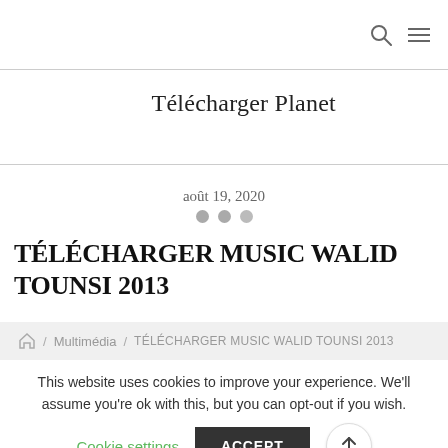Télécharger Planet
Télécharger Planet
août 19, 2020
TÉLÉCHARGER MUSIC WALID TOUNSI 2013
⌂ / Multimédia / TÉLÉCHARGER MUSIC WALID TOUNSI 2013
This website uses cookies to improve your experience. We'll assume you're ok with this, but you can opt-out if you wish.
Cookie settings ACCEPT